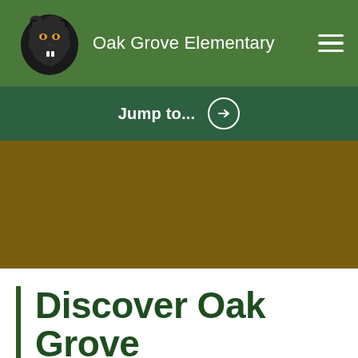Oak Grove Elementary
Jump to...
[Figure (screenshot): Hero image area with dark olive/brown background color, likely a school photo placeholder]
Discover Oak Grove Elementary